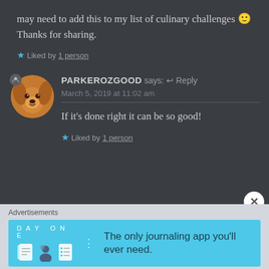may need to add this to my list of culinary challenges 🙂 Thanks for sharing.
★ Liked by 1 person
PARKEROZGOOD says: ↩ Reply
March 5, 2019 at 11:02 am
If it's done right it can be so good!
★ Liked by 1 person
Advertisements
DAY ONE — The only journaling app you'll ever need.